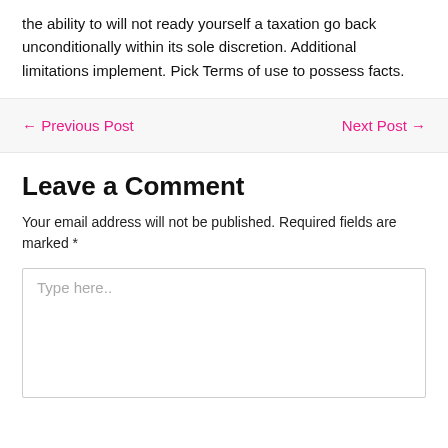the ability to will not ready yourself a taxation go back unconditionally within its sole discretion. Additional limitations implement. Pick Terms of use to possess facts.
← Previous Post   Next Post →
Leave a Comment
Your email address will not be published. Required fields are marked *
Type here..